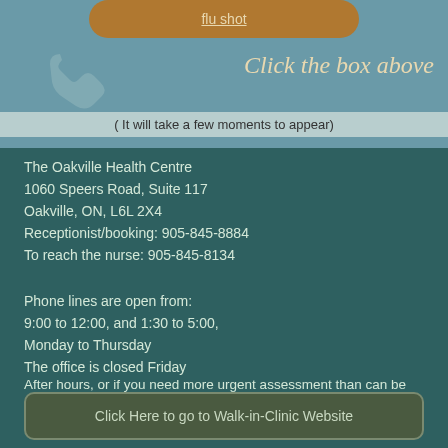[Figure (other): Brown rounded button with 'flu shot' link text and teal background with phone icon]
Click the box above
( It will take a few moments to appear)
The Oakville Health Centre
1060 Speers Road, Suite 117
Oakville, ON, L6L 2X4
Receptionist/booking: 905-845-8884
To reach the nurse: 905-845-8134
Phone lines are open from:
9:00 to 12:00, and 1:30 to 5:00,
Monday to Thursday
The office is closed Friday
After hours, or if you need more urgent assessment than can be obtained at our office, please go to our Walk-in-Clinic.
Click Here to go to Walk-in-Clinic Website